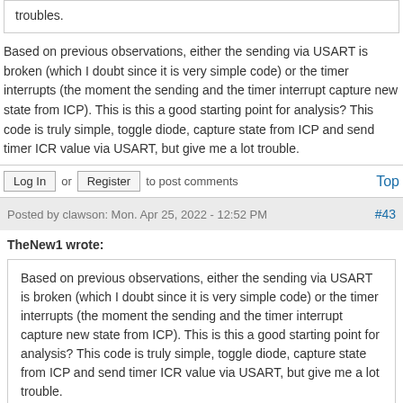troubles.
Based on previous observations, either the sending via USART is broken (which I doubt since it is very simple code) or the timer interrupts (the moment the sending and the timer interrupt capture new state from ICP). This is this a good starting point for analysis? This code is truly simple, toggle diode, capture state from ICP and send timer ICR value via USART, but give me a lot trouble.
Log In or Register to post comments
Top
Posted by clawson: Mon. Apr 25, 2022 - 12:52 PM
#43
TheNew1 wrote:
Based on previous observations, either the sending via USART is broken (which I doubt since it is very simple code) or the timer interrupts (the moment the sending and the timer interrupt capture new state from ICP). This is this a good starting point for analysis? This code is truly simple, toggle diode, capture state from ICP and send timer ICR value via USART, but give me a lot trouble.
This is why design should be done in a modular/isolated fashion. Douglas and